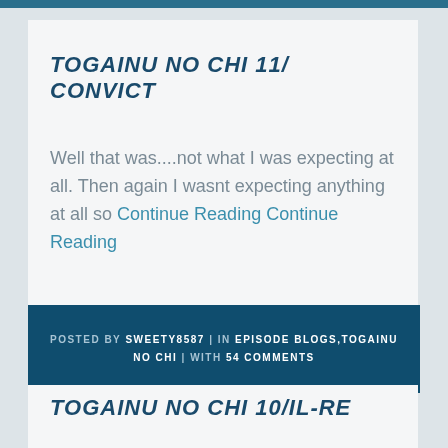TOGAINU NO CHI 11/ CONVICT
Well that was....not what I was expecting at all. Then again I wasnt expecting anything at all so Continue Reading Continue Reading
POSTED BY SWEETY8587 | IN EPISODE BLOGS,TOGAINU NO CHI | WITH 54 COMMENTS
TOGAINU NO CHI 10/IL-RE